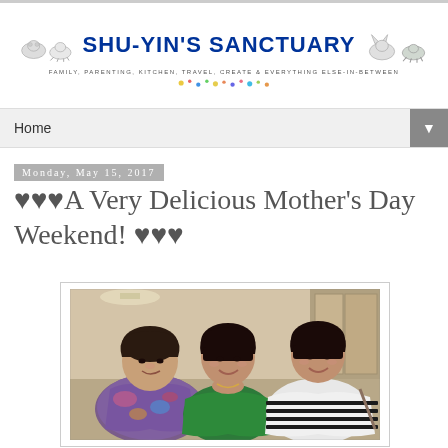[Figure (logo): Shu-Yin's Sanctuary blog logo with cartoon animals and colorful paint splatter dots]
Home ▼
Monday, May 15, 2017
♥♥♥A Very Delicious Mother's Day Weekend! ♥♥♥
[Figure (photo): Three women posing together indoors; the woman on the left is elderly wearing a colorful patterned blouse, the woman in the middle is wearing a green off-shoulder top, and the woman on the right is wearing a black and white striped top]